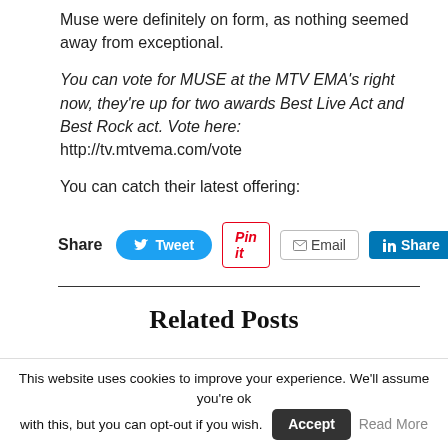Muse were definitely on form, as nothing seemed away from exceptional.
You can vote for MUSE at the MTV EMA’s right now, they’re up for two awards Best Live Act and Best Rock act. Vote here: http://tv.mtvema.com/vote
You can catch their latest offering:
[Figure (other): Social share buttons row: Share label, Tweet (Twitter), Pin it (Pinterest), Email, Share (LinkedIn)]
Related Posts
This website uses cookies to improve your experience. We'll assume you're ok with this, but you can opt-out if you wish. Accept  Read More